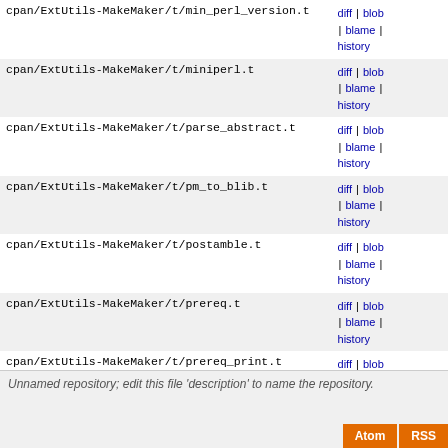| filepath | actions |
| --- | --- |
| cpan/ExtUtils-MakeMaker/t/min_perl_version.t | diff | blob | blame | history |
| cpan/ExtUtils-MakeMaker/t/miniperl.t | diff | blob | blame | history |
| cpan/ExtUtils-MakeMaker/t/parse_abstract.t | diff | blob | blame | history |
| cpan/ExtUtils-MakeMaker/t/pm_to_blib.t | diff | blob | blame | history |
| cpan/ExtUtils-MakeMaker/t/postamble.t | diff | blob | blame | history |
| cpan/ExtUtils-MakeMaker/t/prereq.t | diff | blob | blame | history |
| cpan/ExtUtils-MakeMaker/t/prereq_print.t | diff | blob | blame | history |
| cpan/ExtUtils-MakeMaker/t/recurs.t | diff | blob | blame | history |
| cpan/ExtUtils-MakeMaker/t/several_authors.t | diff | blob | blame | history |
| cpan/ExtUtils-MakeMaker/t/writemakefile_args.t | diff | blob | blame | history |
| cpan/ExtUtils-MakeMaker/t/xs.t | diff | blob | blame | history |
Unnamed repository; edit this file 'description' to name the repository.